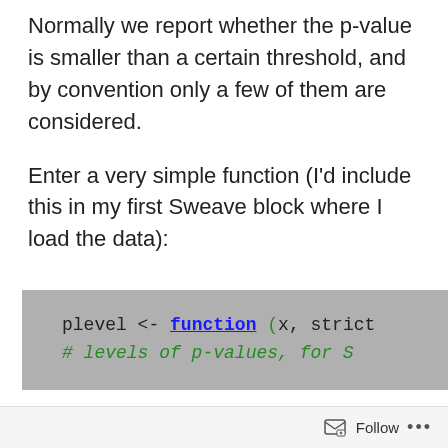Normally we report whether the p-value is smaller than a certain threshold, and by convention only a few of them are considered.
Enter a very simple function (I'd include this in my first Sweave block where I load the data):
[Figure (screenshot): Code block with grey background showing R code: 'plevel <- function (x, strict' on first line and '# levels of p-values, for S' as a comment on second line. 'function' keyword is bold blue underlined, opening parenthesis is green.]
Follow ...